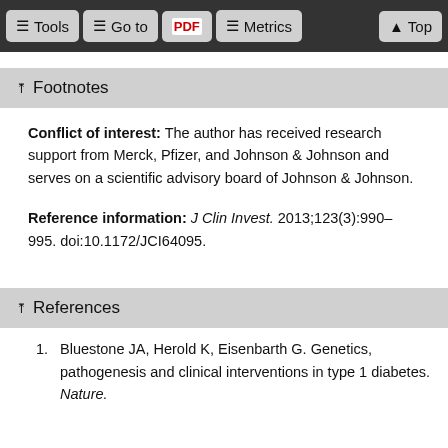Tools | Go to | PDF | Metrics | Top
Footnotes
Conflict of interest: The author has received research support from Merck, Pfizer, and Johnson & Johnson and serves on a scientific advisory board of Johnson & Johnson.
Reference information: J Clin Invest. 2013;123(3):990–995. doi:10.1172/JCI64095.
References
Bluestone JA, Herold K, Eisenbarth G. Genetics, pathogenesis and clinical interventions in type 1 diabetes. Nature.